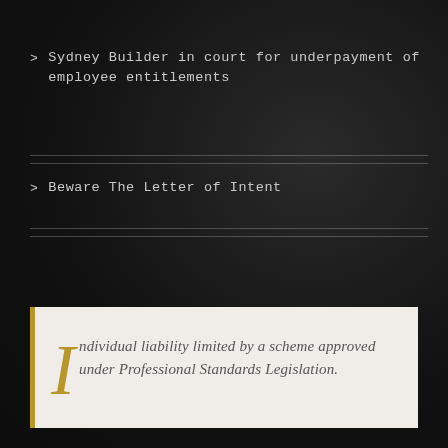Sydney Builder in court for underpayment of employee entitlements
Beware The Letter of Intent
Individual liability limited by a scheme approved under Professional Standards Legislation.